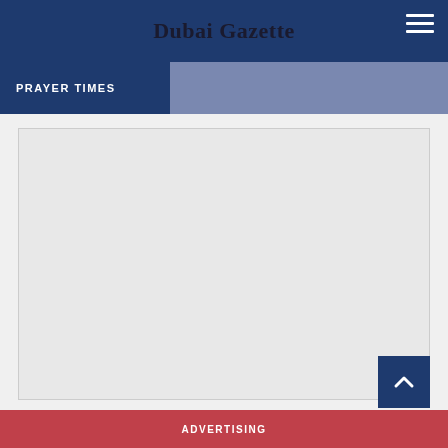Dubai Gazette
PRAYER TIMES
[Figure (other): Empty content area / advertisement placeholder box with light gray background]
ADVERTISING